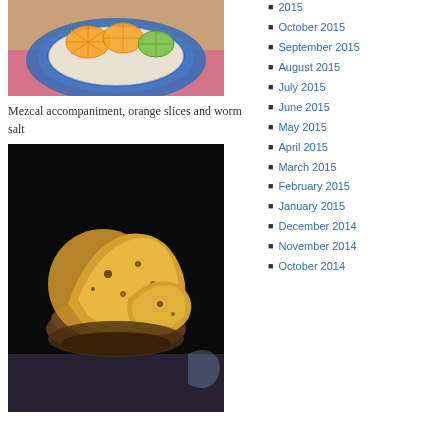[Figure (photo): Photo of orange slices and lime on a blue decorative plate]
Mezcal accompaniment, orange slices and worm salt
[Figure (photo): Photo of food items in a dark bowl on dark background]
2015
October 2015
September 2015
August 2015
July 2015
June 2015
May 2015
April 2015
March 2015
February 2015
January 2015
December 2014
November 2014
October 2014